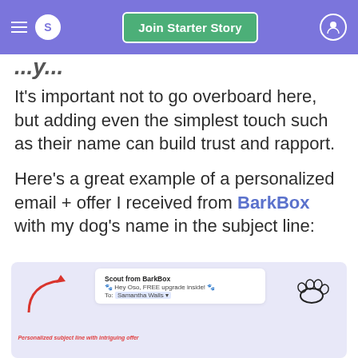S  Join Starter Story
It's important not to go overboard here, but adding even the simplest touch such as their name can build trust and rapport.
Here's a great example of a personalized email + offer I received from BarkBox with my dog's name in the subject line:
[Figure (screenshot): Screenshot of a BarkBox email with subject line 'Hey Oso, FREE upgrade inside!' addressed to Samantha Walls, with a red arrow pointing to it labeled 'Personalized subject line with intriguing offer' and a dog paw illustration on the right.]